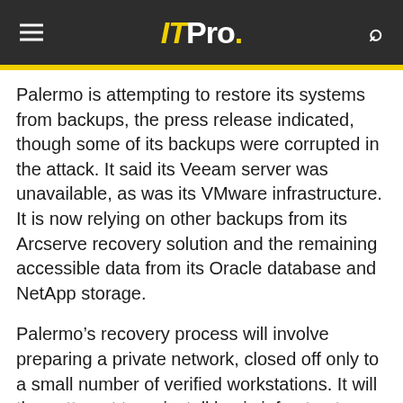ITPro.
Palermo is attempting to restore its systems from backups, the press release indicated, though some of its backups were corrupted in the attack. It said its Veeam server was unavailable, as was its VMware infrastructure. It is now relying on other backups from its Arcserve recovery solution and the remaining accessible data from its Oracle database and NetApp storage.
Palermo's recovery process will involve preparing a private network, closed off only to a small number of verified workstations. It will then attempt to re-install basic infrastructure and then attempt to